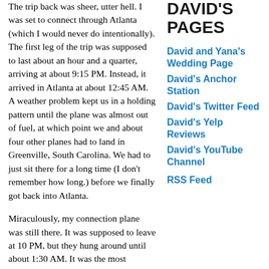The trip back was sheer, utter hell. I was set to connect through Atlanta (which I would never do intentionally). The first leg of the trip was supposed to last about an hour and a quarter, arriving at about 9:15 PM. Instead, it arrived in Atlanta at about 12:45 AM. A weather problem kept us in a holding pattern until the plane was almost out of fuel, at which point we and about four other planes had to land in Greenville, South Carolina. We had to just sit there for a long time (I don't remember how long.) before we finally got back into Atlanta.
Miraculously, my connection plane was still there. It was supposed to leave at 10 PM, but they hung around until about 1:30 AM. It was the most uncomfortable plane ride
DAVID'S PAGES
David and Yana's Wedding Page
David's Anchor Station
David's Twitter Feed
David's Yelp Reviews
David's YouTube Channel
RSS Feed